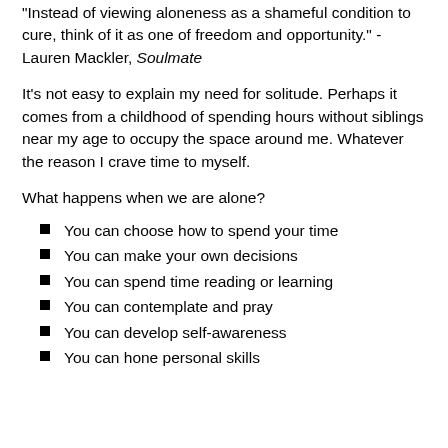“Instead of viewing aloneness as a shameful condition to cure, think of it as one of freedom and opportunity.” - Lauren Mackler, Soulmate
It’s not easy to explain my need for solitude. Perhaps it comes from a childhood of spending hours without siblings near my age to occupy the space around me. Whatever the reason I crave time to myself.
What happens when we are alone?
You can choose how to spend your time
You can make your own decisions
You can spend time reading or learning
You can contemplate and pray
You can develop self-awareness
You can hone personal skills